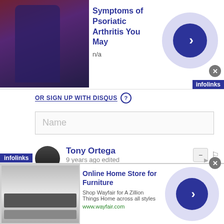[Figure (screenshot): Top advertisement banner showing a person in a blue outfit with red hair, promoting 'Symptoms of Psoriatic Arthritis You May' with n/a subtitle, infolinks badge, and circular blue arrow button]
OR SIGN UP WITH DISQUS
Name
Tony Ortega
9 years ago edited
(Also posted at our Facebook page.) UNDERGROUND BUNKER UPDATE: So here's the plan for Monday. Today, Sunday, we had two big stories -- we revealed a new Scientology staff contract in our Sunday Funnies post, and then later provided a lengthy guide to the UK wedding in order to push back on some of the clueless
[Figure (screenshot): Bottom advertisement for 'Online Home Store for Furniture' from Wayfair, showing furniture/appliance image, with text 'Shop Wayfair for A Zillion Things Home across all styles' and URL www.wayfair.com, with circular blue arrow button and infolinks branding]